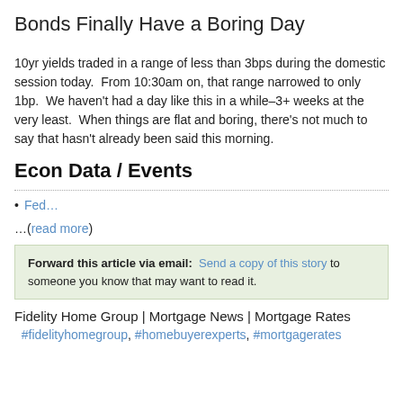Bonds Finally Have a Boring Day
10yr yields traded in a range of less than 3bps during the domestic session today.  From 10:30am on, that range narrowed to only 1bp.  We haven't had a day like this in a while–3+ weeks at the very least.  When things are flat and boring, there's not much to say that hasn't already been said this morning.
Econ Data / Events
Fed…
…(read more)
Forward this article via email:  Send a copy of this story to someone you know that may want to read it.
Fidelity Home Group | Mortgage News | Mortgage Rates
#fidelityhomegroup, #homebuyerexperts, #mortgagerates